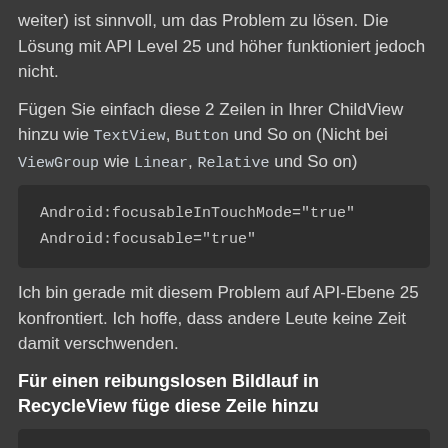weiter) ist sinnvoll, um das Problem zu lösen. Die Lösung mit API Level 25 und höher funktioniert jedoch nicht.
Fügen Sie einfach diese 2 Zeilen in Ihrer ChildView hinzu wie TextView, Button und So on (Nicht bei ViewGroup wie Linear, Relative und So on)
Android:focusableInTouchMode="true"
Android:focusable="true"
Ich bin gerade mit diesem Problem auf API-Ebene 25 konfrontiert. Ich hoffe, dass andere Leute keine Zeit damit verschwenden.
Für einen reibungslosen Bildlauf in RecycleView füge diese Zeile hinzu
Android:nestedScrollingEnabled="false"